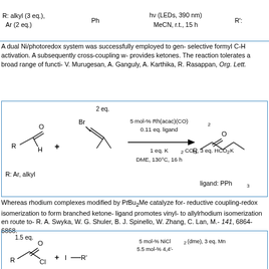[Figure (schematic): Top reaction scheme showing Ni/photoredox conditions: R: alkyl (3 eq.), Ar (2 eq.), Ph, hv (LEDs, 390 nm), MeCN, r.t., 15 h, R':]
A dual Ni/photoredox system was successfully employed to generate selective formyl C-H activation. A subsequently cross-coupling with provides ketones. The reaction tolerates a broad range of functi... V. Murugesan, A. Ganguly, A. Karthika, R. Rasappan, Org. Lett.
[Figure (schematic): Reaction scheme: aldehyde R-CHO + vinyl bromide (2 eq.) with 5 mol-% Rh(acac)(CO)2, 0.11 eq. ligand, 1 eq. K2CO3, 3 eq. HCO2K, DME, 130°C, 16 h, gives ketone product. R: Ar, alkyl. Ligand: PPh3]
Whereas rhodium complexes modified by PtBu2Me catalyze for reductive coupling-redox isomerization to form branched ketone ligand promotes vinyl- to allylrhodium isomerization en route to R. A. Swyka, W. G. Shuler, B. J. Spinello, W. Zhang, C. Lan, M. 141, 6864-6868.
[Figure (schematic): Reaction scheme: acyl chloride R-COCl (1.5 eq.) + I-R' with 5 mol-% NiCl2(dme), 3 eq. Mn, 5.5 mol-% 4,4'-tBu2-2,2'-bipyridine, DMA, 0°C, 13-30 h, gives ketone R-CO-R']